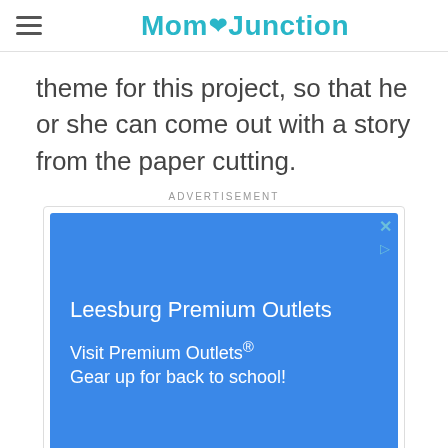Mom Junction
theme for this project, so that he or she can come out with a story from the paper cutting.
ADVERTISEMENT
[Figure (screenshot): Blue advertisement banner for Leesburg Premium Outlets with text: 'Leesburg Premium Outlets', 'Visit Premium Outlets®', 'Gear up for back to school!']
ADVERTISEMENT
[Figure (other): Gray geometric hexagon/diamond pattern banner (second advertisement placeholder)]